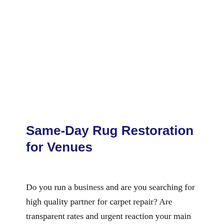Same-Day Rug Restoration for Venues
Do you run a business and are you searching for high quality partner for carpet repair? Are transparent rates and urgent reaction your main decision making factors? We are here to offer them. Available 24/7 whenever you may need